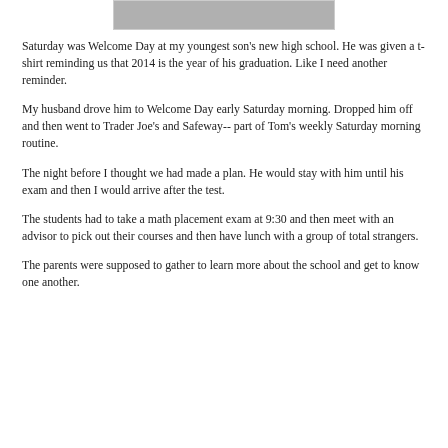[Figure (photo): Partial photo visible at top of page, cropped gray image]
Saturday was Welcome Day at my youngest son's new high school. He was given a t-shirt reminding us that 2014 is the year of his graduation. Like I need another reminder.
My husband drove him to Welcome Day early Saturday morning. Dropped him off and then went to Trader Joe's and Safeway-- part of Tom's weekly Saturday morning routine.
The night before I thought we had made a plan. He would stay with him until his exam and then I would arrive after the test.
The students had to take a math placement exam at 9:30 and then meet with an advisor to pick out their courses and then have lunch with a group of total strangers.
The parents were supposed to gather to learn more about the school and get to know one another.